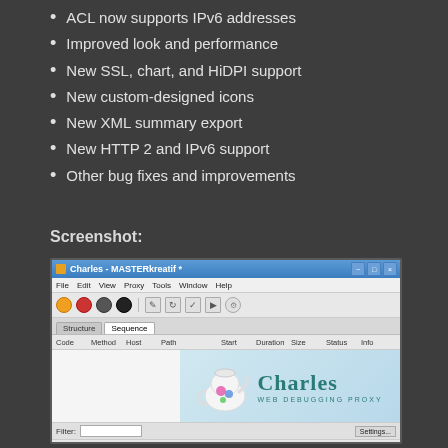ACL now supports IPv6 addresses
Improved look and performance
New SSL, chart, and HiDPI support
New custom-designed icons
New XML summary export
New HTTP 2 and IPv6 support
Other bug fixes and improvements
Screenshot:
[Figure (screenshot): Charles Web Debugging Proxy application window showing title bar, menu bar, toolbar with record button, Structure/Sequence tabs, table header with columns Code, Method, Host, Path, Start, Duration, Size, Status, Info, and a splash screen showing a decorative teapot with 'Charles WEB DEBUGGING PROXY' text and filter bar at bottom]